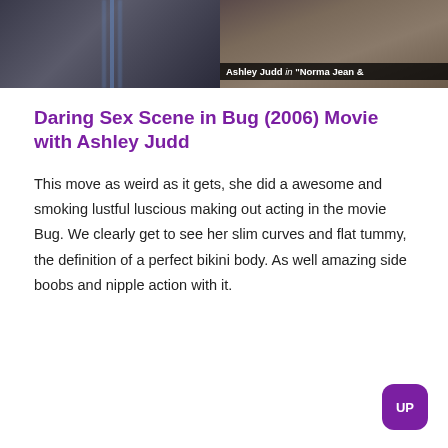[Figure (photo): Two side-by-side video stills: left shows a dark exterior scene, right shows a group of people indoors with caption 'Ashley Judd in Norma Jean &']
Daring Sex Scene in Bug (2006) Movie with Ashley Judd
This move as weird as it gets, she did a awesome and smoking lustful luscious making out acting in the movie Bug. We clearly get to see her slim curves and flat tummy, the definition of a perfect bikini body. As well amazing side boobs and nipple action with it.